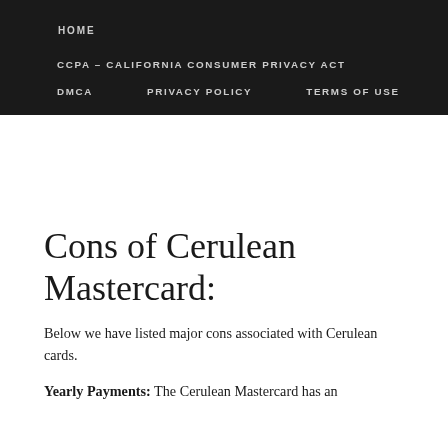HOME
CCPA – CALIFORNIA CONSUMER PRIVACY ACT
DMCA   PRIVACY POLICY   TERMS OF USE
Cons of Cerulean Mastercard:
Below we have listed major cons associated with Cerulean cards.
Yearly Payments: The Cerulean Mastercard has an